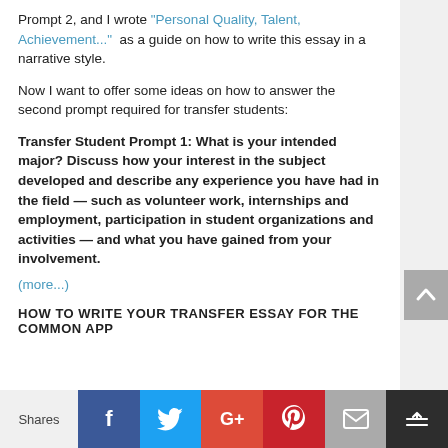Prompt 2, and I wrote "Personal Quality, Talent, Achievement..." as a guide on how to write this essay in a narrative style.
Now I want to offer some ideas on how to answer the second prompt required for transfer students:
Transfer Student Prompt 1: What is your intended major? Discuss how your interest in the subject developed and describe any experience you have had in the field — such as volunteer work, internships and employment, participation in student organizations and activities — and what you have gained from your involvement.
(more...)
How to Write Your Transfer Essay for the Common App